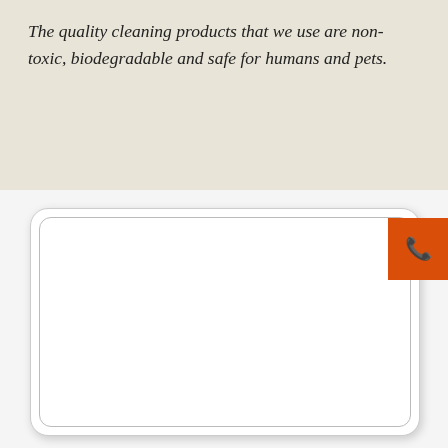The quality cleaning products that we use are non-toxic, biodegradable and safe for humans and pets.
[Figure (other): A white rounded rectangle card with double border (outer card with shadow and inner border), positioned below the text section. An orange square tab with a dark blue phone icon is overlaid on the right side of the card.]